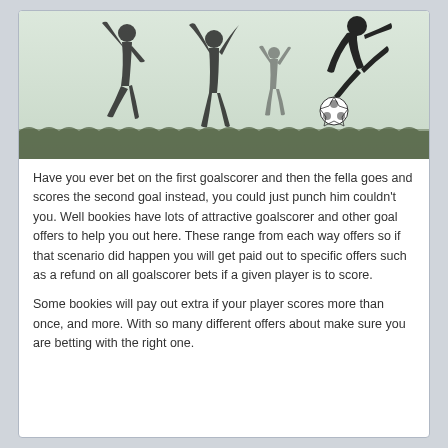[Figure (illustration): Silhouettes of soccer players celebrating and doing a bicycle kick, with a soccer ball, on a misty green background]
Have you ever bet on the first goalscorer and then the fella goes and scores the second goal instead, you could just punch him couldn't you. Well bookies have lots of attractive goalscorer and other goal offers to help you out here. These range from each way offers so if that scenario did happen you will get paid out to specific offers such as a refund on all goalscorer bets if a given player is to score.
Some bookies will pay out extra if your player scores more than once, and more. With so many different offers about make sure you are betting with the right one.